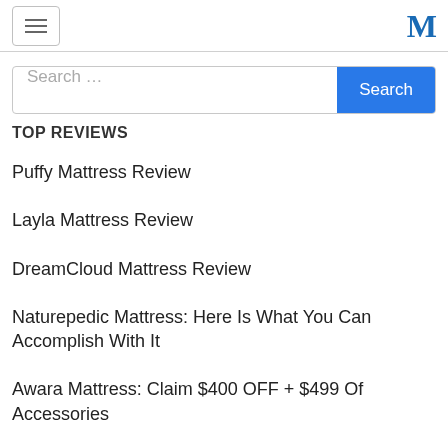≡  M
Search ...
TOP REVIEWS
Puffy Mattress Review
Layla Mattress Review
DreamCloud Mattress Review
Naturepedic Mattress: Here Is What You Can Accomplish With It
Awara Mattress: Claim $400 OFF + $499 Of Accessories